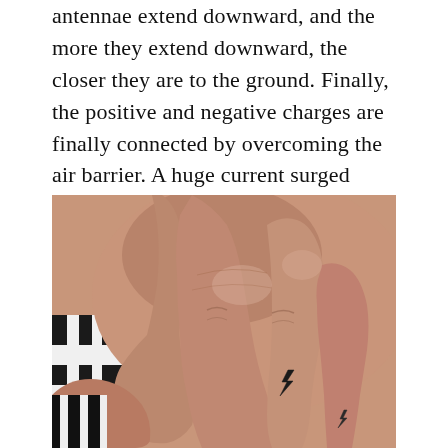antennae extend downward, and the more they extend downward, the closer they are to the ground. Finally, the positive and negative charges are finally connected by overcoming the air barrier. A huge current surged from the ground to the clouds along a conducting airway, producing a bright and dazzling flash.
[Figure (photo): Close-up photograph of hands with fingers interlocked, showing a small black lightning bolt tattoo on one of the fingers. The background shows black and white stripes.]